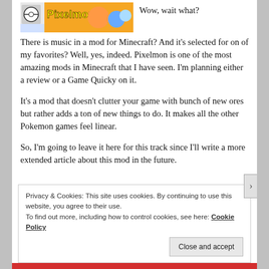[Figure (screenshot): Pixelmon mod logo banner with colorful characters and pixel art style image]
Wow, wait what? There is music in a mod for Minecraft? And it's selected for on of my favorites? Well, yes, indeed. Pixelmon is one of the most amazing mods in Minecraft that I have seen. I'm planning either a review or a Game Quicky on it.
It's a mod that doesn't clutter your game with bunch of new ores but rather adds a ton of new things to do. It makes all the other Pokemon games feel linear.
So, I'm going to leave it here for this track since I'll write a more extended article about this mod in the future.
Privacy & Cookies: This site uses cookies. By continuing to use this website, you agree to their use.
To find out more, including how to control cookies, see here: Cookie Policy
Close and accept